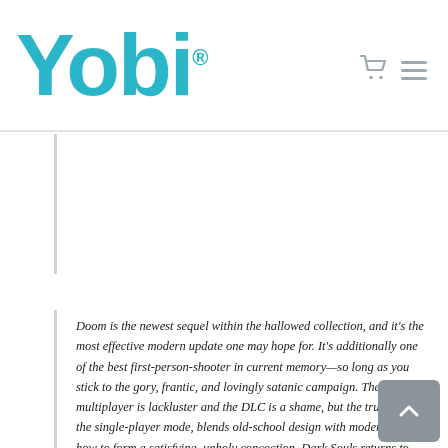[Figure (logo): Yobi logo in teal/cyan color with registered trademark symbol, followed by cart and hamburger menu icons in grey]
Doom is the newest sequel within the hallowed collection, and it's the most effective modern update one may hope for. It's additionally one of the best first-person-shooter in current memory—so long as you stick to the gory, frantic, and lovingly satanic campaign. The multiplayer is lackluster and the DLC is a shame, but the true star, the single-player mode, blends old-school design with modern know-how to form a satisfying, unholy concoction. Dark Souls returns to the PC, and it is every bit as terrifying as you may have heard.